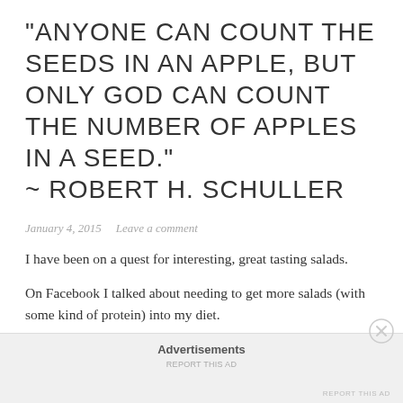“ANYONE CAN COUNT THE SEEDS IN AN APPLE, BUT ONLY GOD CAN COUNT THE NUMBER OF APPLES IN A SEED.” ~ ROBERT H. SCHULLER
January 4, 2015   Leave a comment
I have been on a quest for interesting, great tasting salads.
On Facebook I talked about needing to get more salads (with some kind of protein) into my diet.
But they had to be good!
Advertisements